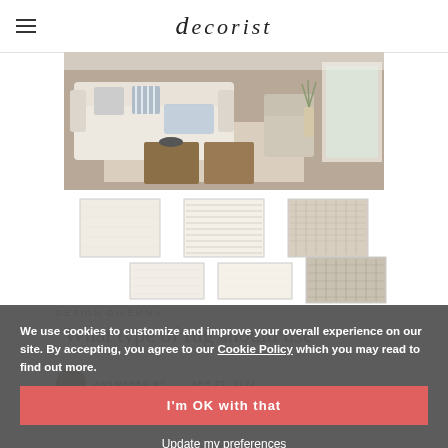decorist
[Figure (photo): Living room interior with white sofa, blue/striped pillows, wooden coffee tables, and a light rug.]
[Figure (photo): Six rug swatches in neutral cream and beige tones arranged in two rows of three.]
DESIGN DILEMMA
What type of rug should use
ANSWERED BY ... · APR 25, 2022
Hello Farish,
We use cookies to customize and improve your overall experience on our site. By accepting, you agree to our Cookie Policy which you may read to find out more.
I'm OK with that
Update my preferences